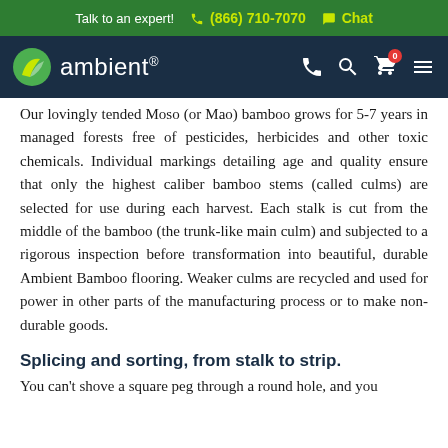Talk to an expert!  ☎ (866) 710-7070  💬 Chat
[Figure (logo): Ambient bamboo flooring website navigation bar with logo, phone, search, cart, and menu icons]
Our lovingly tended Moso (or Mao) bamboo grows for 5-7 years in managed forests free of pesticides, herbicides and other toxic chemicals. Individual markings detailing age and quality ensure that only the highest caliber bamboo stems (called culms) are selected for use during each harvest. Each stalk is cut from the middle of the bamboo (the trunk-like main culm) and subjected to a rigorous inspection before transformation into beautiful, durable Ambient Bamboo flooring. Weaker culms are recycled and used for power in other parts of the manufacturing process or to make non-durable goods.
Splicing and sorting, from stalk to strip.
You can't shove a square peg through a round hole, and you